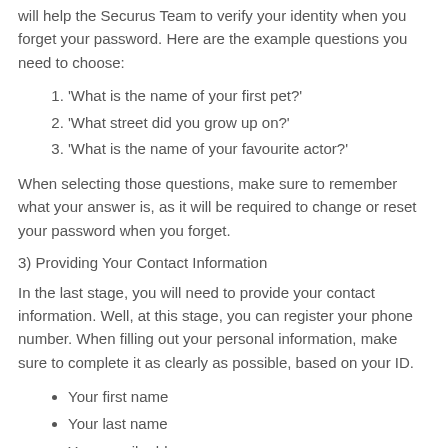will help the Securus Team to verify your identity when you forget your password. Here are the example questions you need to choose:
1. 'What is the name of your first pet?'
2. 'What street did you grow up on?'
3. 'What is the name of your favourite actor?'
When selecting those questions, make sure to remember what your answer is, as it will be required to change or reset your password when you forget.
3) Providing Your Contact Information
In the last stage, you will need to provide your contact information. Well, at this stage, you can register your phone number. When filling out your personal information, make sure to complete it as clearly as possible, based on your ID.
Your first name
Your last name
Your email address
Your country
Your address